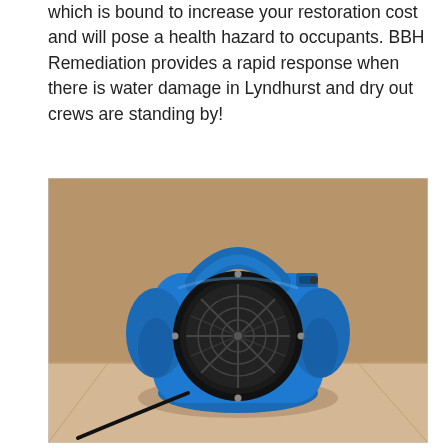which is bound to increase your restoration cost and will pose a health hazard to occupants. BBH Remediation provides a rapid response when there is water damage in Lyndhurst and dry out crews are standing by!
[Figure (photo): A blue industrial air mover / carpet blower fan placed on a light-colored floor against a cardboard-brown background. The fan is blue plastic with a large circular black grille at the front, a carry handle on top, and speed control knob on the side.]